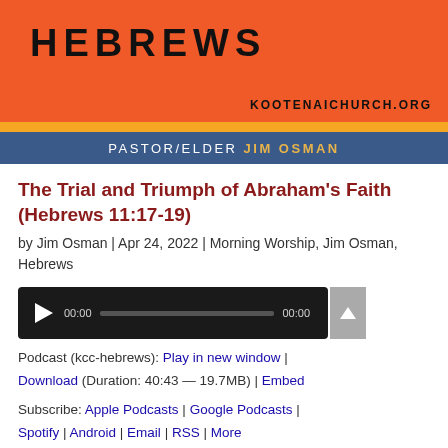[Figure (illustration): Hebrews podcast/sermon series banner image with orange background, 'HEBREWS' in large bold black text, 'KOOTENAICHURCH.ORG' in small caps, a yellow stripe, a blue stripe with 'PASTOR/ELDER JIM OSMAN' in white and gold text]
The Trial and Triumph of Abraham’s Faith (Hebrews 11:17-19)
by Jim Osman | Apr 24, 2022 | Morning Worship, Jim Osman, Hebrews
[Figure (screenshot): Audio player widget with dark background, play button, time display 00:00, progress bar, and end time 00:00]
Podcast (kcc-hebrews): Play in new window | Download (Duration: 40:43 — 19.7MB) | Embed
Subscribe: Apple Podcasts | Google Podcasts | Spotify | Android | Email | RSS | More